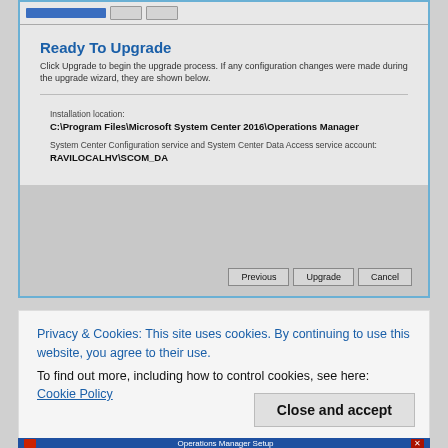[Figure (screenshot): Windows setup wizard dialog titled 'Ready To Upgrade' showing installation location C:\Program Files\Microsoft System Center 2016\Operations Manager and service account RAVILOCALHV\SCOM_DA, with Previous, Upgrade, and Cancel buttons.]
Privacy & Cookies: This site uses cookies. By continuing to use this website, you agree to their use.
To find out more, including how to control cookies, see here: Cookie Policy
Close and accept
Operations Manager Setup